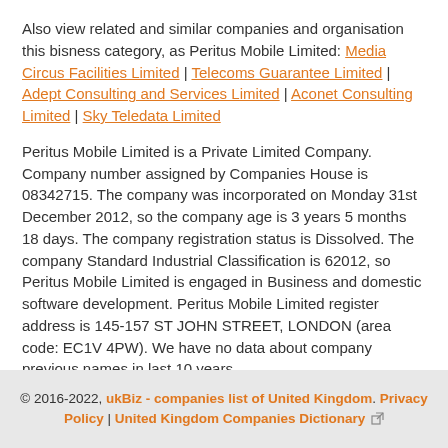Also view related and similar companies and organisation this bisness category, as Peritus Mobile Limited: Media Circus Facilities Limited | Telecoms Guarantee Limited | Adept Consulting and Services Limited | Aconet Consulting Limited | Sky Teledata Limited
Peritus Mobile Limited is a Private Limited Company. Company number assigned by Companies House is 08342715. The company was incorporated on Monday 31st December 2012, so the company age is 3 years 5 months 18 days. The company registration status is Dissolved. The company Standard Industrial Classification is 62012, so Peritus Mobile Limited is engaged in Business and domestic software development. Peritus Mobile Limited register address is 145-157 ST JOHN STREET, LONDON (area code: EC1V 4PW). We have no data about company previous names in last 10 years.
© 2016-2022, ukBiz - companies list of United Kingdom. Privacy Policy | United Kingdom Companies Dictionary